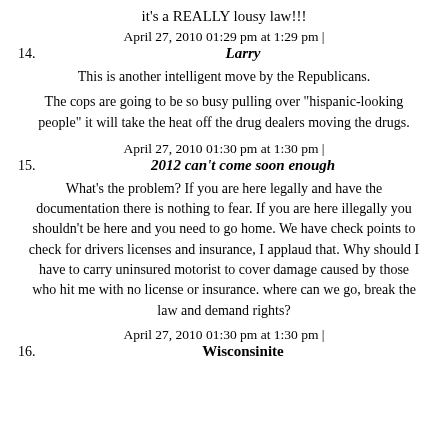it's a REALLY lousy law!!!
April 27, 2010 01:29 pm at 1:29 pm |
14. Larry
This is another intelligent move by the Republicans.
The cops are going to be so busy pulling over "hispanic-looking people" it will take the heat off the drug dealers moving the drugs.
April 27, 2010 01:30 pm at 1:30 pm |
15. 2012 can't come soon enough
What's the problem? If you are here legally and have the documentation there is nothing to fear. If you are here illegally you shouldn't be here and you need to go home. We have check points to check for drivers licenses and insurance, I applaud that. Why should I have to carry uninsured motorist to cover damage caused by those who hit me with no license or insurance. where can we go, break the law and demand rights?
April 27, 2010 01:30 pm at 1:30 pm |
16. Wisconsinite